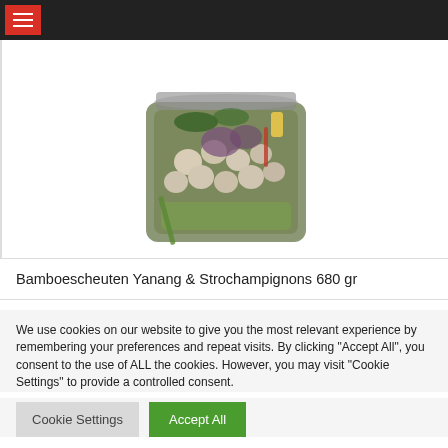Navigation bar with hamburger menu
[Figure (photo): A glass jar filled with bamboo shoots, straw mushrooms, and colorful vegetables including what appears to be purple cabbage, corn, and green beans, photographed from a slightly elevated angle against a white background.]
Bamboescheuten Yanang & Strochampignons 680 gr
We use cookies on our website to give you the most relevant experience by remembering your preferences and repeat visits. By clicking "Accept All", you consent to the use of ALL the cookies. However, you may visit "Cookie Settings" to provide a controlled consent.
Cookie Settings
Accept All